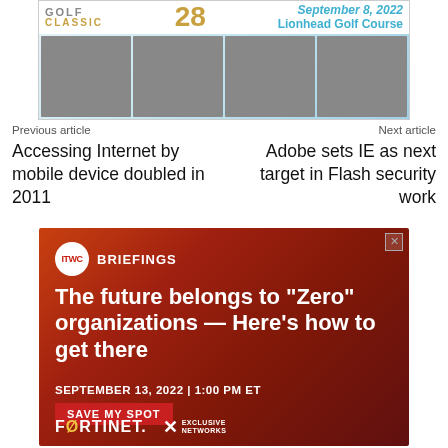[Figure (photo): Golf Classic advertisement banner with date September 8, 2022 at Lionhead Golf Course, showing four photos of people at outdoor events]
Previous article
Next article
Accessing Internet by mobile device doubled in 2011
Adobe sets IE as next target in Flash security work
[Figure (photo): ITWC Briefings advertisement by Fortinet and Exclusive Networks. Headline: The future belongs to "Zero" organizations — Here's how to get there. Date: September 13, 2022 | 1:00 PM ET. CTA: Save My Spot]